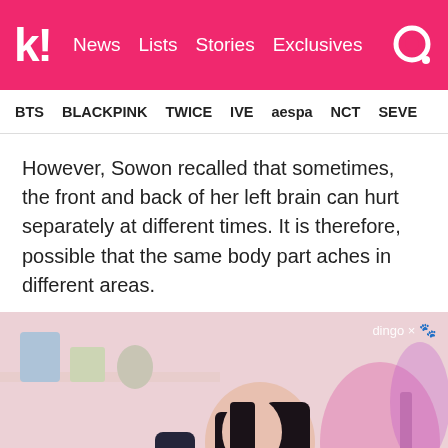k! News Lists Stories Exclusives
BTS BLACKPINK TWICE IVE aespa NCT SEVE
However, Sowon recalled that sometimes, the front and back of her left brain can hurt separately at different times. It is therefore, possible that the same body part aches in different areas.
[Figure (photo): A young woman with long dark hair touching the back of her head, sitting in a colorful room. A 'dingo x' watermark is visible in the top right. Korean text subtitle box at the bottom reads: <안 계 속 바른>]